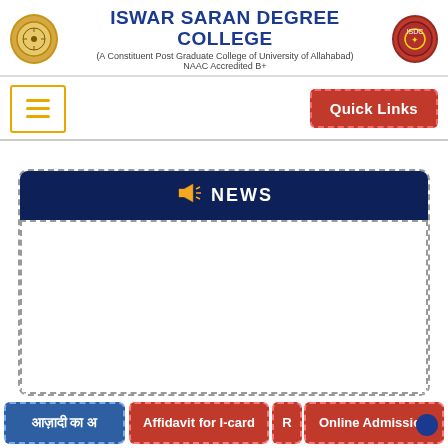[Figure (logo): Iswar Saran Degree College header with two logos flanking the college name and subtitle]
ISWAR SARAN DEGREE COLLEGE
(A Constituent Post Graduate College of University of Allahabad) NAAC Accredited B+
[Figure (other): Hamburger menu button with yellow border and three horizontal lines]
Quick Links
NEWS
आज़ादी का अ
Affidavit for I-card
R
Online Admission